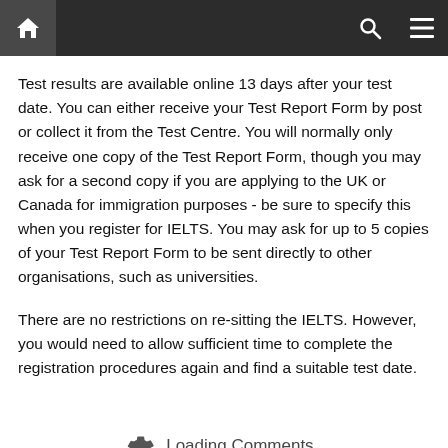Navigation bar with home, search, and menu icons
Test results are available online 13 days after your test date. You can either receive your Test Report Form by post or collect it from the Test Centre. You will normally only receive one copy of the Test Report Form, though you may ask for a second copy if you are applying to the UK or Canada for immigration purposes - be sure to specify this when you register for IELTS. You may ask for up to 5 copies of your Test Report Form to be sent directly to other organisations, such as universities.
There are no restrictions on re-sitting the IELTS. However, you would need to allow sufficient time to complete the registration procedures again and find a suitable test date.
Loading Comments...